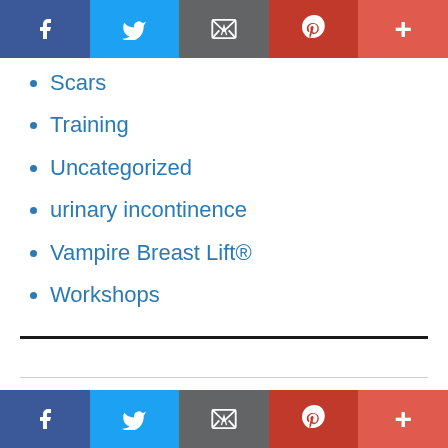[Figure (infographic): Social media sharing bar at top with Facebook (dark blue), Twitter (blue), Email (gray), Pinterest (red), More (orange-red) buttons]
Scars
Training
Uncategorized
urinary incontinence
Vampire Breast Lift®
Workshops
Home
[Figure (infographic): Social media sharing bar at bottom with Facebook (dark blue), Twitter (blue), Email (gray), Pinterest (red), More (orange-red) buttons]